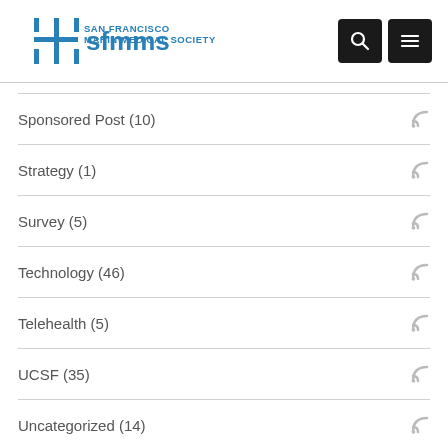SFMMS San Francisco Marin Medical Society
Sponsored Post (10)
Strategy (1)
Survey (5)
Technology (46)
Telehealth (5)
UCSF (35)
Uncategorized (14)
Volunteer (6)